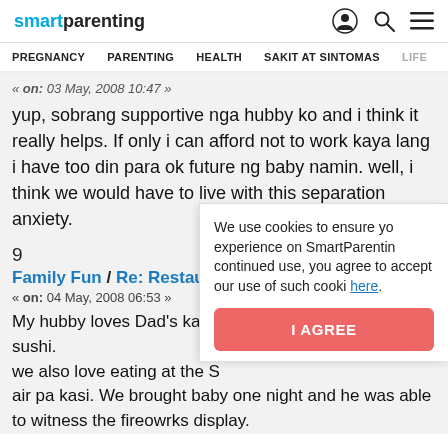smartparenting — PREGNANCY | PARENTING | HEALTH | SAKIT AT SINTOMAS | LIFE
« on: 03 May, 2008 10:47 »
yup, sobrang supportive nga hubby ko and i think it really helps. If only i can afford not to work kaya lang i have too din para ok future ng baby namin. well, i think we would have to live with this separation anxiety.
9
Family Fun / Re: Restaurants
« on: 04 May, 2008 06:53 »
My hubby loves Dad's kasi e sushi.
we also love eating at the S air pa kasi. We brought baby one night and he was able to witness the fireowrks display.
We use cookies to ensure yo experience on SmartParentin continued use, you agree to accept our use of such cooki here.